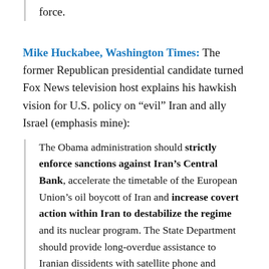force.
Mike Huckabee, Washington Times: The former Republican presidential candidate turned Fox News television host explains his hawkish vision for U.S. policy on “evil” Iran and ally Israel (emphasis mine):
The Obama administration should strictly enforce sanctions against Iran’s Central Bank, accelerate the timetable of the European Union’s oil boycott of Iran and increase covert action within Iran to destabilize the regime and its nuclear program. The State Department should provide long-overdue assistance to Iranian dissidents with satellite phone and Internet technology to enable them to organize and communicate free from the regime’s authoritarian boot. When Israeli Prime Minister Benjamin Netanyahu comes to the White House next week, Mr. Obama should